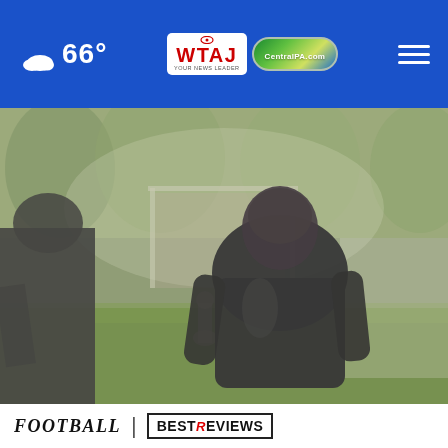66° | WTAJ Your News Leader | CentralPA.com
[Figure (photo): Outdoor football scene showing two people in dark jackets from behind near a goalpost, with blurred background trees and grass. A smaller figure visible in the background.]
FOOTBALL | BESTREVIEWS